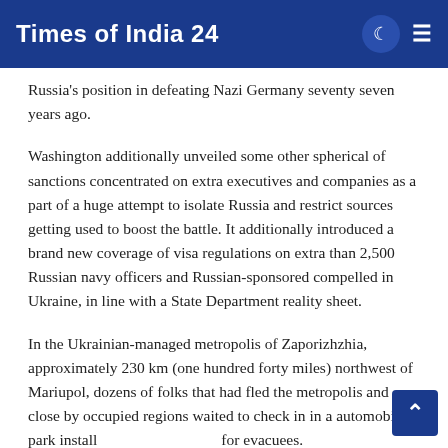Times of India 24
Russia's position in defeating Nazi Germany seventy seven years ago.
Washington additionally unveiled some other spherical of sanctions concentrated on extra executives and companies as a part of a huge attempt to isolate Russia and restrict sources getting used to boost the battle. It additionally introduced a brand new coverage of visa regulations on extra than 2,500 Russian navy officers and Russian-sponsored compelled in Ukraine, in line with a State Department reality sheet.
In the Ukrainian-managed metropolis of Zaporizhzhia, approximately 230 km (one hundred forty miles) northwest of Mariupol, dozens of folks that had fled the metropolis and close by occupied regions waited to check in in a automobile park install for evacuees.
“There’s masses of humans nonetheless in Mariupol the need to g…